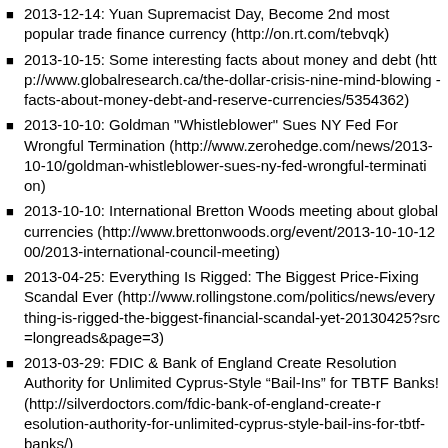2013-12-14: Yuan Supremacist Day, Become 2nd most popular trade finance currency (http://on.rt.com/tebvqk)
2013-10-15: Some interesting facts about money and debt (http://www.globalresearch.ca/the-dollar-crisis-nine-mind-blowing-facts-about-money-debt-and-reserve-currencies/5354362)
2013-10-10: Goldman "Whistleblower" Sues NY Fed For Wrongful Termination (http://www.zerohedge.com/news/2013-10-10/goldman-whistleblower-sues-ny-fed-wrongful-termination)
2013-10-10: International Bretton Woods meeting about global currencies (http://www.brettonwoods.org/event/2013-10-10-1200/2013-international-council-meeting)
2013-04-25: Everything Is Rigged: The Biggest Price-Fixing Scandal Ever (http://www.rollingstone.com/politics/news/everything-is-rigged-the-biggest-financial-scandal-yet-20130425?src=longreads&page=3)
2013-03-29: FDIC & Bank of England Create Resolution Authority for Unlimited Cyprus-Style “Bail-Ins” for TBTF Banks! (http://silverdoctors.com/fdic-bank-of-england-create-resolution-authority-for-unlimited-cyprus-style-bail-ins-for-tbtf-banks/)
2013-03-18: And the first haircut goes to... Cypress!
2013-01-28: Why Has Iceland Experienced a Strong Economic Recovery after Complete Financial Collapse in 2008? (http://www.globalresearch.ca/why-has-iceland-experienced-a-strong-economic-recovery-after-complete-financial-collapse-in-2008/53...